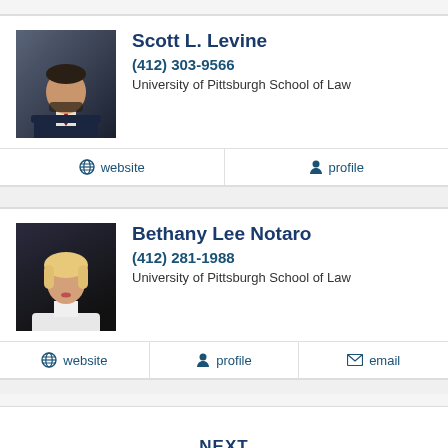Scott L. Levine
(412) 303-9566
University of Pittsburgh School of Law
website
profile
Bethany Lee Notaro
(412) 281-1988
University of Pittsburgh School of Law
website
profile
email
NEXT